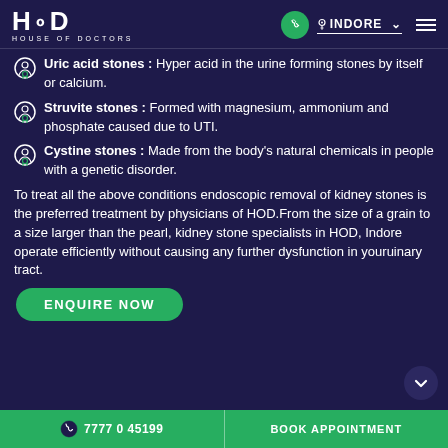HOD HOUSE OF DOCTORS — INDORE
Uric acid stones : Hyper acid in the urine forming stones by itself or calcium.
Struvite stones : Formed with magnesium, ammonium and phosphate caused due to UTI.
Cystine stones : Made from the body's natural chemicals in people with a genetic disorder.
To treat all the above conditions endoscopic removal of kidney stones is the preferred treatment by physicians of HOD.From the size of a grain to a size larger than the pearl, kidney stone specialists in HOD, Indore operate efficiently without causing any further dysfunction in youruinary tract.
ENQUIRE NOW
7777 0 45199   BOOK APPOINTMENT